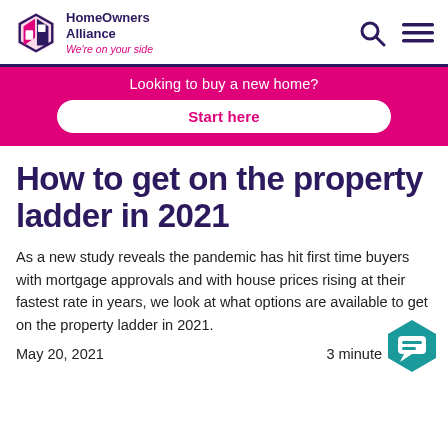HomeOwners Alliance — We're on your side
[Figure (logo): HomeOwners Alliance logo with hexagonal house icon in purple/pink and text 'HomeOwners Alliance — We're on your side']
Looking to buy a new home?
Start here
How to get on the property ladder in 2021
As a new study reveals the pandemic has hit first time buyers with mortgage approvals and with house prices rising at their fastest rate in years, we look at what options are available to get on the property ladder in 2021.
May 20, 2021   3 minute